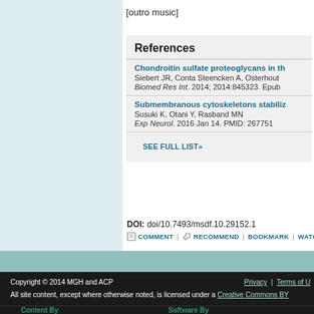[outro music]
References
Chondroitin sulfate proteoglycans in th...
Siebert JR, Conta Steencken A, Osterhout...
Biomed Res Int. 2014; 2014:845323. Epub...
Submembranous cytoskeletons stabiliz...
Susuki K, Otani Y, Rasband MN
Exp Neurol. 2016 Jan 14. PMID: 26775177...
SEE FULL LIST»
DOI: doi/10.7493/msdf.10.29152.1
COMMENT | RECOMMEND | BOOKMARK | WATCH
Copyright © 2014 MGH and ACP | Privacy | Terms of U...
All site content, except where otherwise noted, is licensed under a Creative Commons BY...
Content By | Software By